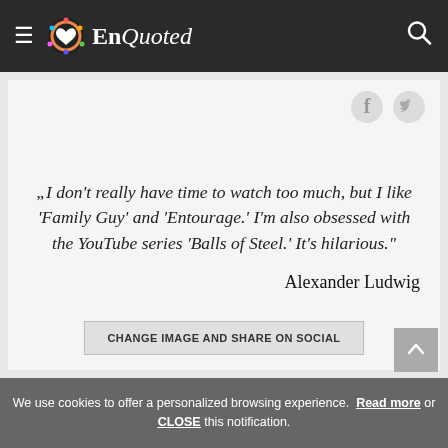EnQuoted
„I don't really have time to watch too much, but I like 'Family Guy' and 'Entourage.' I'm also obsessed with the YouTube series 'Balls of Steel.' It's hilarious."
Alexander Ludwig
CHANGE IMAGE AND SHARE ON SOCIAL
We use cookies to offer a personalized browsing experience. Read more or CLOSE this notification.